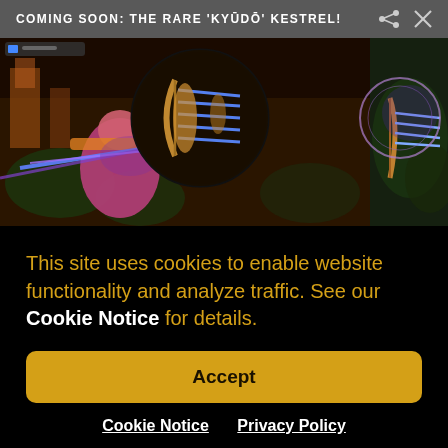COMING SOON: THE RARE 'KYŪDŌ' KESTREL!
[Figure (screenshot): Game screenshot showing a fantasy/action mobile game character with bow and arrows, with purple and blue magical effects. Composite of multiple in-game screenshots.]
This site uses cookies to enable website functionality and analyze traffic. See our Cookie Notice for details.
Accept
Cookie Notice  Privacy Policy